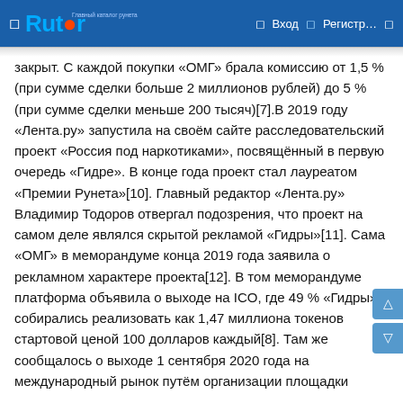Rutor — Вход  Регистр…
закрыт. С каждой покупки «ОМГ» брала комиссию от 1,5 % (при сумме сделки больше 2 миллионов рублей) до 5 % (при сумме сделки меньше 200 тысяч)[7].В 2019 году «Лента.ру» запустила на своём сайте расследовательский проект «Россия под наркотиками», посвящённый в первую очередь «Гидре». В конце года проект стал лауреатом «Премии Рунета»[10]. Главный редактор «Лента.ру» Владимир Тодоров отвергал подозрения, что проект на самом деле являлся скрытой рекламой «Гидры»[11]. Сама «ОМГ» в меморандуме конца 2019 года заявила о рекламном характере проекта[12]. В том меморандуме платформа объявила о выходе на ICO, где 49 % «Гидры» собирались реализовать как 1,47 миллиона токенов стартовой ценой 100 долларов каждый[8]. Там же сообщалось о выходе 1 сентября 2020 года на международный рынок путём организации площадки Eternos, которая должна работать через специально созданную анонимную сеть АспаNET[13].По мнению президента Фонда имени Андрея Рылькова Анны Саранг, продолжительная и успешная, в